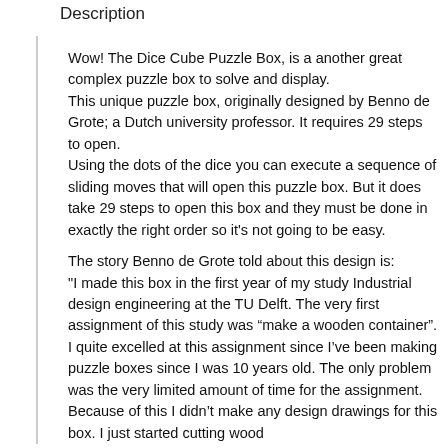Description
Wow! The Dice Cube Puzzle Box, is a another great complex puzzle box to solve and display.
This unique puzzle box, originally designed by Benno de Grote; a Dutch university professor. It requires 29 steps to open.
Using the dots of the dice you can execute a sequence of sliding moves that will open this puzzle box. But it does take 29 steps to open this box and they must be done in exactly the right order so it's not going to be easy.

The story Benno de Grote told about this design is:
"I made this box in the first year of my study Industrial design engineering at the TU Delft. The very first assignment of this study was “make a wooden container”. I quite excelled at this assignment since I’ve been making puzzle boxes since I was 10 years old. The only problem was the very limited amount of time for the assignment. Because of this I didn’t make any design drawings for this box. I just started cutting wood